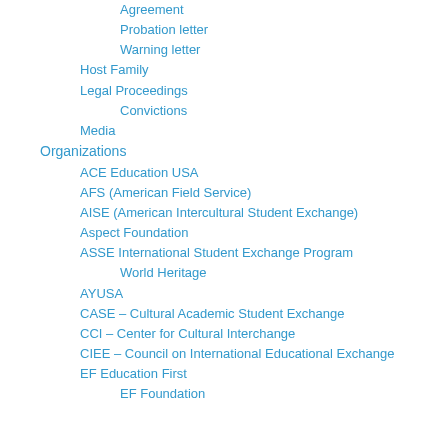Agreement
Probation letter
Warning letter
Host Family
Legal Proceedings
Convictions
Media
Organizations
ACE Education USA
AFS (American Field Service)
AISE (American Intercultural Student Exchange)
Aspect Foundation
ASSE International Student Exchange Program
World Heritage
AYUSA
CASE – Cultural Academic Student Exchange
CCI – Center for Cultural Interchange
CIEE – Council on International Educational Exchange
EF Education First
EF Foundation